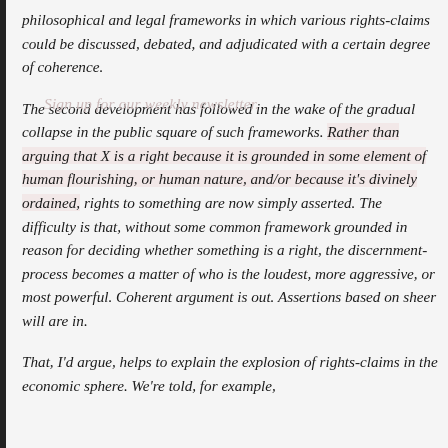philosophical and legal frameworks in which various rights-claims could be discussed, debated, and adjudicated with a certain degree of coherence.
The second development has followed in the wake of the gradual collapse in the public square of such frameworks. Rather than arguing that X is a right because it is grounded in some element of human flourishing, or human nature, and/or because it's divinely ordained, rights to something are now simply asserted. The difficulty is that, without some common framework grounded in reason for deciding whether something is a right, the discernment-process becomes a matter of who is the loudest, more aggressive, or most powerful. Coherent argument is out. Assertions based on sheer will are in.
That, I'd argue, helps to explain the explosion of rights-claims in the economic sphere. We're told, for example,